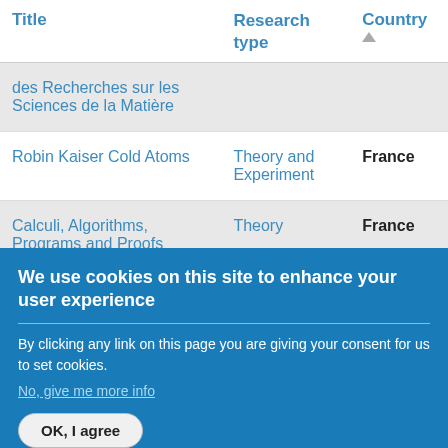| Title | Research type | Country ▲ |
| --- | --- | --- |
| des Recherches sur les Sciences de la Matière |  |  |
| Robin Kaiser Cold Atoms | Theory and Experiment | France |
| Calculi, Algorithms, Programs and Proofs | Theory | France |
| Laboratoire Traitement et | Theory and | France |
We use cookies on this site to enhance your user experience
By clicking any link on this page you are giving your consent for us to set cookies.
No, give me more info
OK, I agree